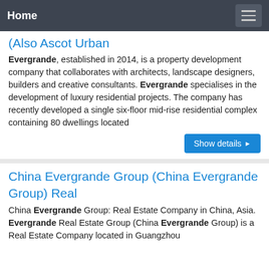Home
(Also Ascot Urban
Evergrande, established in 2014, is a property development company that collaborates with architects, landscape designers, builders and creative consultants. Evergrande specialises in the development of luxury residential projects. The company has recently developed a single six-floor mid-rise residential complex containing 80 dwellings located
China Evergrande Group (China Evergrande Group) Real
China Evergrande Group: Real Estate Company in China, Asia. Evergrande Real Estate Group (China Evergrande Group) is a Real Estate Company located in Guangzhou